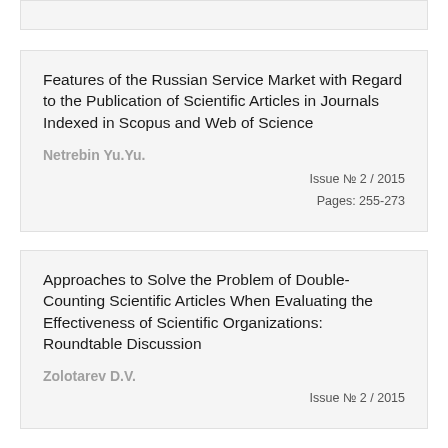Features of the Russian Service Market with Regard to the Publication of Scientific Articles in Journals Indexed in Scopus and Web of Science
Netrebin Yu.Yu.
Issue № 2 / 2015
Pages: 255-273
Approaches to Solve the Problem of Double-Counting Scientific Articles When Evaluating the Effectiveness of Scientific Organizations: Roundtable Discussion
Zolotarev D.V.
Issue № 2 / 2015